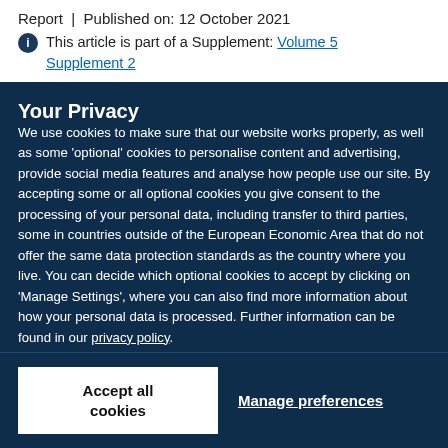Report | Published on: 12 October 2021
This article is part of a Supplement: Volume 5 Supplement 2
Your Privacy
We use cookies to make sure that our website works properly, as well as some 'optional' cookies to personalise content and advertising, provide social media features and analyse how people use our site. By accepting some or all optional cookies you give consent to the processing of your personal data, including transfer to third parties, some in countries outside of the European Economic Area that do not offer the same data protection standards as the country where you live. You can decide which optional cookies to accept by clicking on 'Manage Settings', where you can also find more information about how your personal data is processed. Further information can be found in our privacy policy.
Accept all cookies
Manage preferences